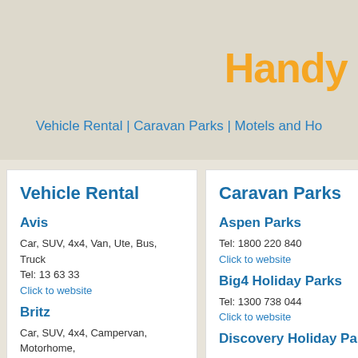Handy
Vehicle Rental | Caravan Parks | Motels and Ho
Vehicle Rental
Avis
Car, SUV, 4x4, Van, Ute, Bus, Truck
Tel: 13 63 33
Click to website
Britz
Car, SUV, 4x4, Campervan, Motorhome, Caravan
Tel: 1800 331 454
Click to website
Caravan Parks
Aspen Parks
Tel: 1800 220 840
Click to website
Big4 Holiday Parks
Tel: 1300 738 044
Click to website
Discovery Holiday Par